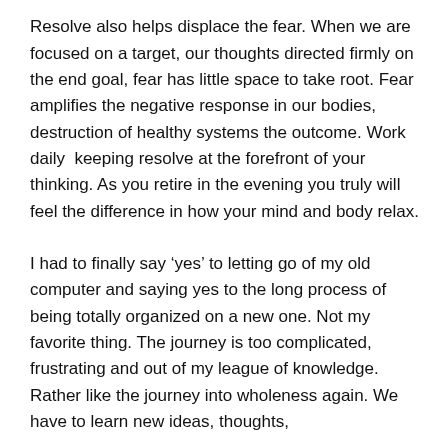voices that cry NO! or Yes! when necessary.
Resolve also helps displace the fear. When we are focused on a target, our thoughts directed firmly on the end goal, fear has little space to take root. Fear amplifies the negative response in our bodies, destruction of healthy systems the outcome. Work daily  keeping resolve at the forefront of your thinking. As you retire in the evening you truly will feel the difference in how your mind and body relax.
I had to finally say ‘yes’ to letting go of my old computer and saying yes to the long process of being totally organized on a new one. Not my favorite thing. The journey is too complicated, frustrating and out of my league of knowledge. Rather like the journey into wholeness again. We have to learn new ideas, thoughts,